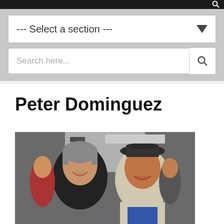--- Select a section ---
Search here...
Peter Dominguez
[Figure (photo): Two men smiling at the camera outdoors. Left man has grey hair wearing a black jacket. Right man wears a dark fedora hat and a blue shirt with a light jacket.]